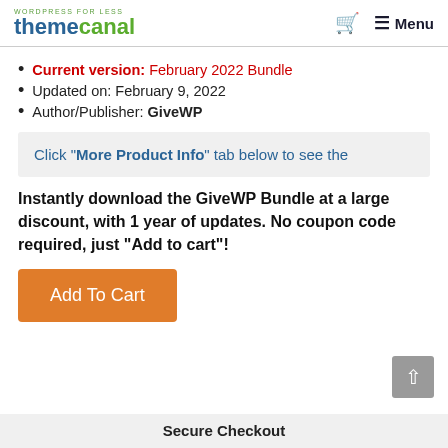themecanal — Menu
Current version: February 2022 Bundle
Updated on: February 9, 2022
Author/Publisher: GiveWP
Click "More Product Info" tab below to see the
Instantly download the GiveWP Bundle at a large discount, with 1 year of updates. No coupon code required, just “Add to cart”!
Add To Cart
Secure Checkout